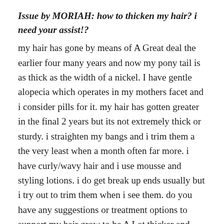Issue by MORIAH: how to thicken my hair? i need your assist!?
my hair has gone by means of A Great deal the earlier four many years and now my pony tail is as thick as the width of a nickel. I have gentle alopecia which operates in my mothers facet and i consider pills for it. my hair has gotten greater in the final 2 years but its not extremely thick or sturdy. i straighten my bangs and i trim them a the very least when a month often far more. i have curly/wavy hair and i use mousse and styling lotions. i do get break up ends usually but i try out to trim them when i see them. do you have any suggestions or treatment options to support my hair grow to be A Lot thicker and more robust? i want my hair to grow to be as thick as a 50 cent coin but thats a huge objective. you should you should make sure you if you know any approaches to help my hair i would enjoy it! im self